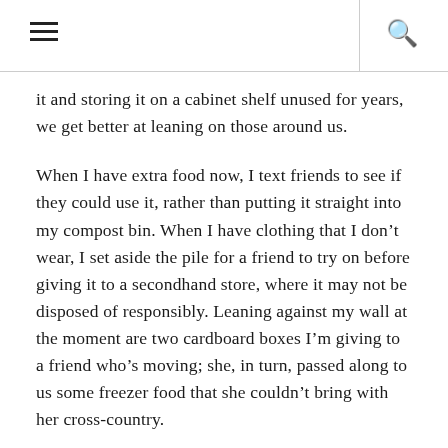☰   🔍
it and storing it on a cabinet shelf unused for years, we get better at leaning on those around us.
When I have extra food now, I text friends to see if they could use it, rather than putting it straight into my compost bin. When I have clothing that I don't wear, I set aside the pile for a friend to try on before giving it to a secondhand store, where it may not be disposed of responsibly. Leaning against my wall at the moment are two cardboard boxes I'm giving to a friend who's moving; she, in turn, passed along to us some freezer food that she couldn't bring with her cross-country.
Though many of these actions can take a